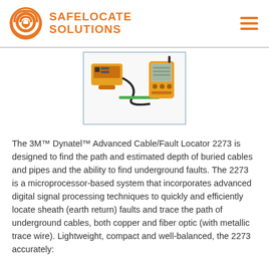[Figure (logo): SafeLocate Solutions logo with orange circular signal icon and orange sans-serif text]
[Figure (photo): 3M Dynatel Advanced Cable/Fault Locator 2273 product photo showing yellow transmitter and receiver units with accessories]
The 3M™ Dynatel™ Advanced Cable/Fault Locator 2273 is designed to find the path and estimated depth of buried cables and pipes and the ability to find underground faults. The 2273 is a microprocessor-based system that incorporates advanced digital signal processing techniques to quickly and efficiently locate sheath (earth return) faults and trace the path of underground cables, both copper and fiber optic (with metallic trace wire). Lightweight, compact and well-balanced, the 2273 accurately: